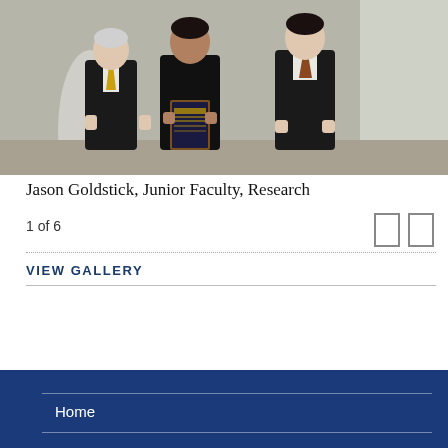[Figure (photo): Three men standing together posing for a photo; the middle man holds a wooden plaque/award. Two men are in dark suits, one on the left wears a suit with a gold/striped tie. Interior setting with white column and windows in background.]
Jason Goldstick, Junior Faculty, Research
1 of 6
VIEW GALLERY
Home